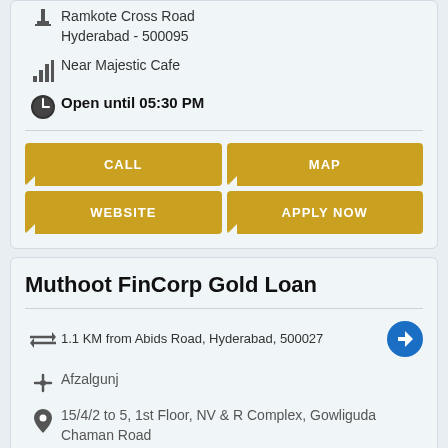Ramkote Cross Road
Hyderabad - 500095
Near Majestic Cafe
Open until 05:30 PM
[Figure (other): Action buttons: CALL, MAP, WEBSITE, APPLY NOW in golden color]
Muthoot FinCorp Gold Loan
1.1 KM from Abids Road, Hyderabad, 500027
Afzalgunj
15/4/2 to 5, 1st Floor, NV & R Complex, Gowliguda Chaman Road
Afzalgunj